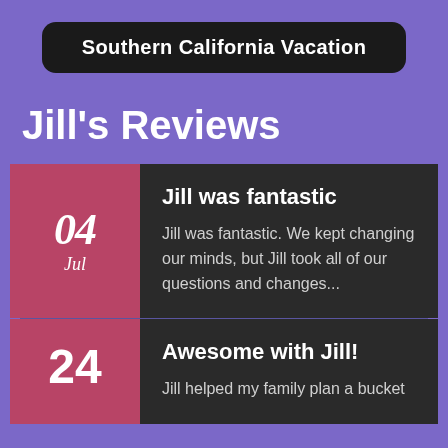Southern California Vacation
Jill's Reviews
Jill was fantastic
Jill was fantastic. We kept changing our minds, but Jill took all of our questions and changes...
Awesome with Jill!
Jill helped my family plan a bucket